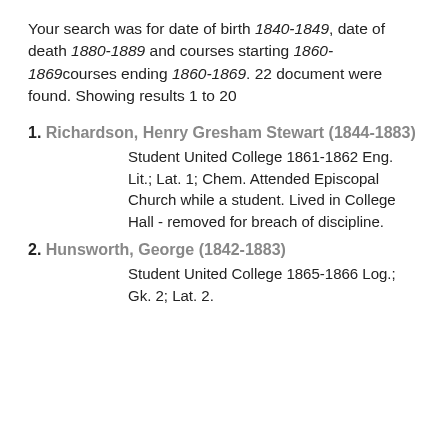Your search was for date of birth 1840-1849, date of death 1880-1889 and courses starting 1860-1869courses ending 1860-1869. 22 document were found. Showing results 1 to 20
1. Richardson, Henry Gresham Stewart (1844-1883) — Student United College 1861-1862 Eng. Lit.; Lat. 1; Chem. Attended Episcopal Church while a student. Lived in College Hall - removed for breach of discipline.
2. Hunsworth, George (1842-1883) — Student United College 1865-1866 Log.; Gk. 2; Lat. 2.